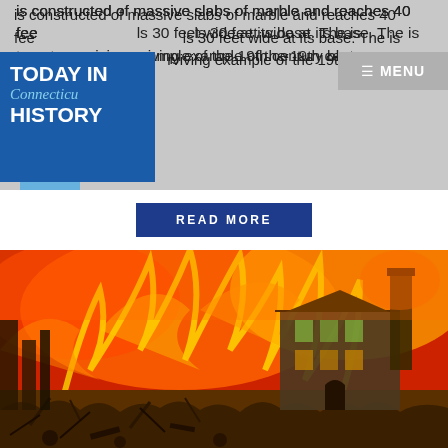is constructed of massive slabs of marble and reaches 40 feet wide at its base. The isolated tower is the only surviving example of the 19th century bla...
[Figure (logo): Today in Connecticut History logo — dark blue rectangle with white bold text 'TODAY IN' and 'HISTORY', italic light blue 'Connecticu' text, and Connecticut state shape in light blue below]
[Figure (other): Menu navigation bar showing hamburger icon and 'MENU' text on gray background]
READ MORE
[Figure (photo): Dramatic image of a building fire with bright orange and red flames filling the sky, charred ruins and debris in the foreground, and a surviving multi-story building visible amid the destruction]